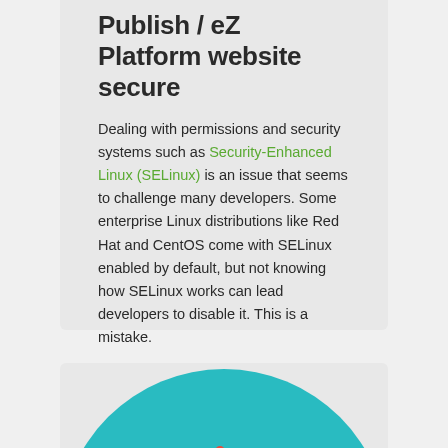Publish / eZ Platform website secure
Dealing with permissions and security systems such as Security-Enhanced Linux (SELinux) is an issue that seems to challenge many developers. Some enterprise Linux distributions like Red Hat and CentOS come with SELinux enabled by default, but not knowing how SELinux works can lead developers to disable it. This is a mistake.
LEARN MORE
[Figure (illustration): Teal/turquoise circle with a yellow vehicle/robot illustration at the bottom center]